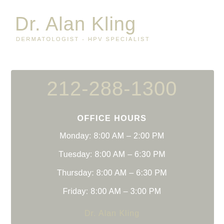Dr. Alan Kling DERMATOLOGIST - HPV SPECIALIST
212-288-1300
OFFICE HOURS
Monday: 8:00 AM – 2:00 PM
Tuesday: 8:00 AM – 6:30 PM
Thursday: 8:00 AM – 6:30 PM
Friday: 8:00 AM – 3:00 PM
Dr. Alan Kling